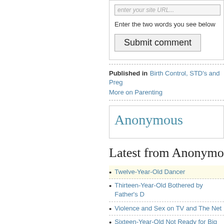Enter the two words you see below
Submit comment
Published in  Birth Control, STD's and Preg...
More on Parenting
Anonymous
Latest from Anonymo...
Twelve-Year-Old Dancer
Thirteen-Year-Old Bothered by Father's D...
Violence and Sex on TV and The Net
Sixteen-Year-Old Not Ready for Big Hike...
Fifteen-Year-Old Disrespectful